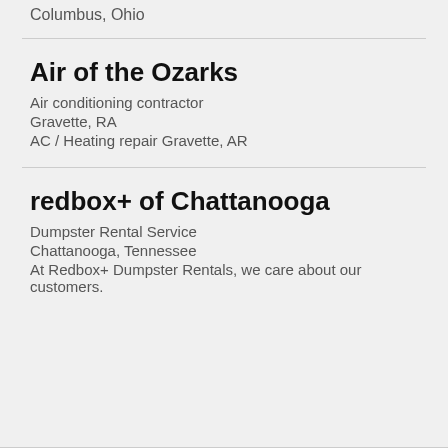Columbus, Ohio
Air of the Ozarks
Air conditioning contractor
Gravette, RA
AC / Heating repair Gravette, AR
redbox+ of Chattanooga
Dumpster Rental Service
Chattanooga, Tennessee
At Redbox+ Dumpster Rentals, we care about our customers.